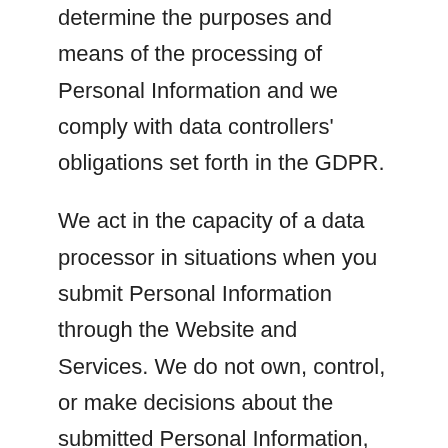determine the purposes and means of the processing of Personal Information and we comply with data controllers' obligations set forth in the GDPR.
We act in the capacity of a data processor in situations when you submit Personal Information through the Website and Services. We do not own, control, or make decisions about the submitted Personal Information, and such Personal Information is processed only in accordance with your instructions. In such instances, the User providing Personal Information acts as a data controller in terms of the GDPR.
In order to make the Website and Services available to you, or to meet a legal obligation, we may need to